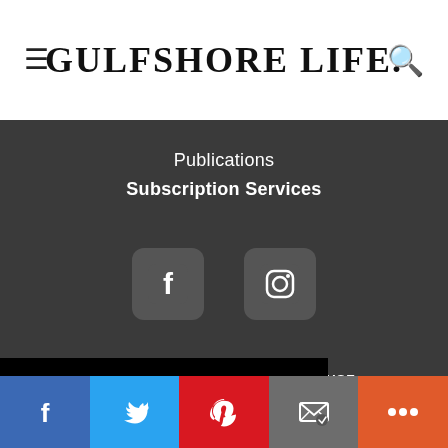GULFSHORE LIFE
Publications
Subscription Services
[Figure (illustration): Facebook icon (rounded square with 'f' logo) and Instagram icon (rounded square with camera logo) as social media links]
CONTACT US
TERMS OF USE
Copyright © 2022 Gulfshore Life Media, LLC. All rights reserved.
[Figure (infographic): Bottom share bar with Facebook (blue), Twitter (light blue), Pinterest (red), Email (grey), and More (orange-red) buttons with their respective icons]